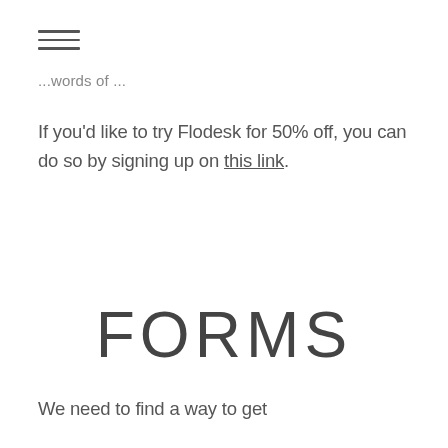≡
...words of ...
If you'd like to try Flodesk for 50% off, you can do so by signing up on this link.
FORMS
We need to find a way to get